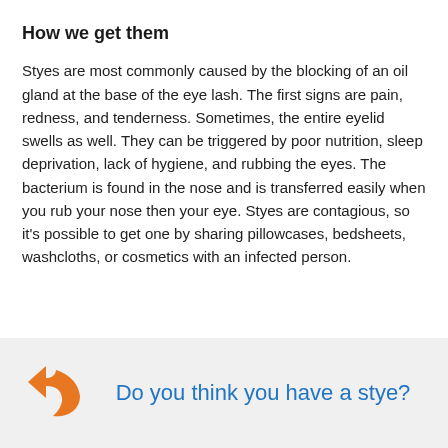How we get them
Styes are most commonly caused by the blocking of an oil gland at the base of the eye lash. The first signs are pain, redness, and tenderness. Sometimes, the entire eyelid swells as well. They can be triggered by poor nutrition, sleep deprivation, lack of hygiene, and rubbing the eyes. The bacterium is found in the nose and is transferred easily when you rub your nose then your eye. Styes are contagious, so it’s possible to get one by sharing pillowcases, bedsheets, washcloths, or cosmetics with an infected person.
[Figure (infographic): Orange forward arrow icon on a light grey background callout box with blue text reading 'Do you think you have a stye?']